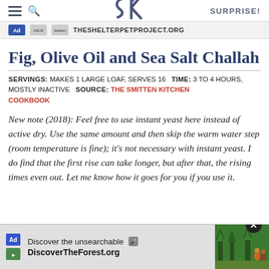SK — SURPRISE!
[Figure (logo): Ad and shelter pet project banner: Ad Council, HSUS, Maddie's Fund logos, THESHELTERPETPROJECT.ORG]
Fig, Olive Oil and Sea Salt Challah
SERVINGS: MAKES 1 LARGE LOAF, SERVES 16   TIME: 3 TO 4 HOURS, MOSTLY INACTIVE   SOURCE: THE SMITTEN KITCHEN COOKBOOK
New note (2018): Feel free to use instant yeast here instead of active dry. Use the same amount and then skip the warm water step (room temperature is fine); it's not necessary with instant yeast. I do find that the first rise can take longer, but after that, the rising times even out. Let me know how it goes for you if you use it.
[Figure (screenshot): Bottom advertisement banner: Discover the unsearchable — DiscoverTheForest.org with forest photo]